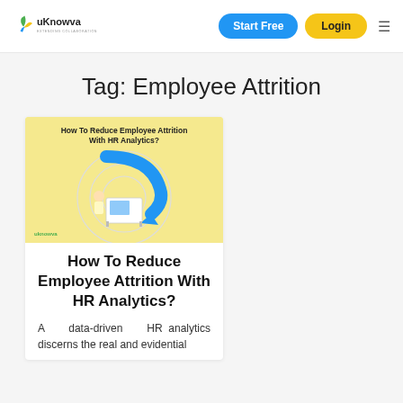uKnowva - EXTENDING COLLABORATION | Start Free | Login
Tag: Employee Attrition
[Figure (illustration): Blog post thumbnail with yellow background showing text 'How To Reduce Employee Attrition With HR Analytics?' and an illustration of a person at a desk with analytics/chart visuals and a blue arrow graphic]
How To Reduce Employee Attrition With HR Analytics?
A data-driven HR analytics discerns the real and evidential